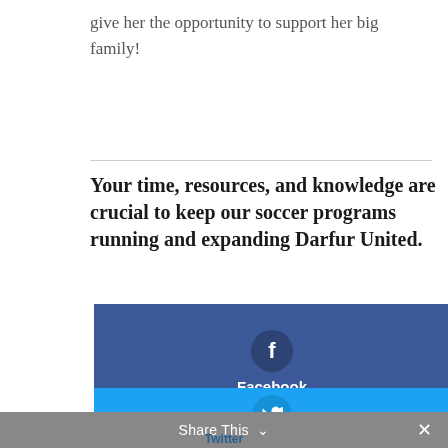give her the opportunity to support her big family!
Your time, resources, and knowledge are crucial to keep our soccer programs running and expanding Darfur United.
Give $10 for Kicks & Hope
Get Involved
[Figure (infographic): Facebook share button block with dark blue background, Facebook 'f' icon in a circle, and label 'Facebook' in white text]
[Figure (infographic): Twitter share button block with light blue background, Twitter bird icon in a circle]
Share This ∨   ×
Twitter